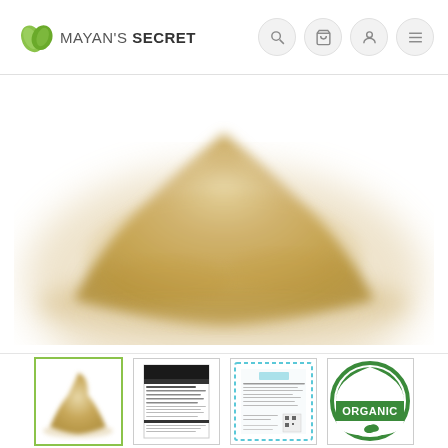MAYAN'S SECRET
[Figure (photo): Pile of beige/tan powder (maca powder or similar) on a white background, blurred edges]
[Figure (photo): Thumbnail 1: selected, green border, pile of beige powder]
[Figure (photo): Thumbnail 2: nutrition facts label]
[Figure (photo): Thumbnail 3: certificate document with blue dotted border]
[Figure (logo): USDA ORGANIC circular green and white logo]